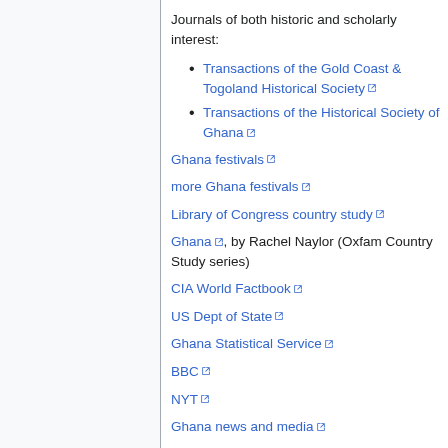Journals of both historic and scholarly interest:
Transactions of the Gold Coast & Togoland Historical Society
Transactions of the Historical Society of Ghana
Ghana festivals
more Ghana festivals
Library of Congress country study
Ghana, by Rachel Naylor (Oxfam Country Study series)
CIA World Factbook
US Dept of State
Ghana Statistical Service
BBC
NYT
Ghana news and media